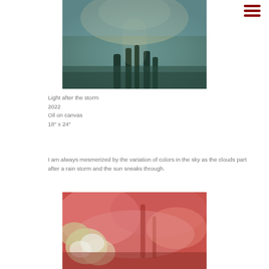[Figure (illustration): Abstract oil painting showing light breaking through stormy sky with teal, blue, green and golden tones suggesting trees or landscape below]
Light after the storm
2022
Oil on canvas
18″ x 24″
I am always mesmerized by the variation of colors in the sky as the clouds part after a rain storm and the sun sneaks through.
[Figure (illustration): Abstract oil painting with bold pink, red, and coral tones with swirling shapes suggesting flowers or landscape elements]